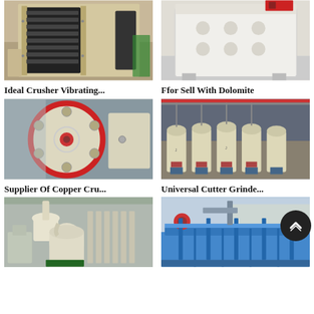[Figure (photo): Industrial crusher vibrating screen machine, black and cream colored, large frame structure in factory setting]
Ideal Crusher Vibrating...
[Figure (photo): Dolomite impact crusher, white boxy structure with circular openings on the side, indoor factory]
Ffor Sell With Dolomite
[Figure (photo): Close-up of a copper crusher flywheel, cream and red colored disc with circular holes, industrial machine]
Supplier Of Copper Cru...
[Figure (photo): Row of universal cutter grinder machines, cylindrical cream-colored units suspended and lined up in a factory]
Universal Cutter Grinde...
[Figure (photo): Raymond mill grinding machine with cyclone separator, cream and green colored, industrial facility]
[Figure (photo): Blue flotation machine/mineral processing equipment in outdoor factory setting]